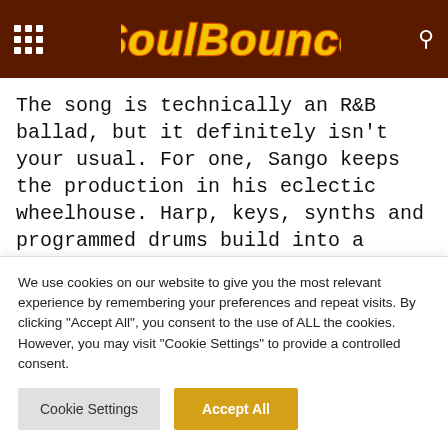SoulBounce
The song is technically an R&B ballad, but it definitely isn't your usual. For one, Sango keeps the production in his eclectic wheelhouse. Harp, keys, synths and programmed drums build into a dreamy concoction that's forward-leaning in sound but traditional in style. Of course, Xavier's vocal is perfect over the melody and his lyrics
We use cookies on our website to give you the most relevant experience by remembering your preferences and repeat visits. By clicking "Accept All", you consent to the use of ALL the cookies. However, you may visit "Cookie Settings" to provide a controlled consent.